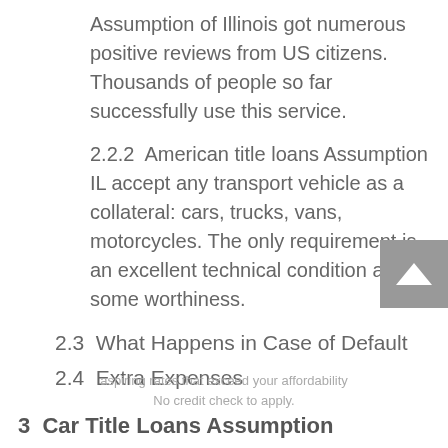Assumption of Illinois got numerous positive reviews from US citizens. Thousands of people so far successfully use this service.
2.2.2  American title loans Assumption IL accept any transport vehicle as a collateral: cars, trucks, vans, motorcycles. The only requirement is an excellent technical condition and some worthiness.
2.3  What Happens in Case of Default
2.4  Extra Expenses
3  Car Title Loans Assumption Documents
3.1  Are Assumption Car Title Loans Legit?
4  How to Calculate the Sum to Payoff
5  How to Repay American Title Loans